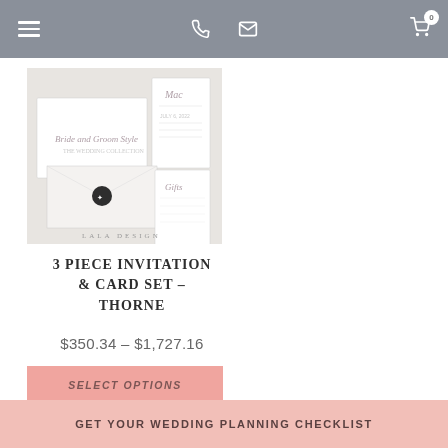Navigation bar with hamburger menu, phone icon, mail icon, cart icon with badge 0
[Figure (photo): Product photo showing a 3-piece wedding invitation and card set called Thorne, with various stationery items including invitations, envelopes, and cards laid flat on a light grey background. LALA DESIGN branding at bottom.]
3 PIECE INVITATION & CARD SET – THORNE
$350.34 – $1,727.16
SELECT OPTIONS
GET YOUR WEDDING PLANNING CHECKLIST